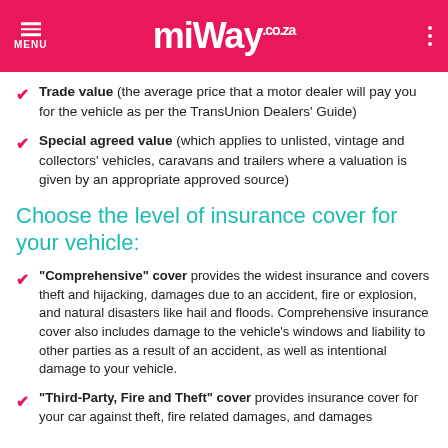MiWay.co.za
Trade value (the average price that a motor dealer will pay you for the vehicle as per the TransUnion Dealers' Guide)
Special agreed value (which applies to unlisted, vintage and collectors' vehicles, caravans and trailers where a valuation is given by an appropriate approved source)
Choose the level of insurance cover for your vehicle:
"Comprehensive" cover provides the widest insurance and covers theft and hijacking, damages due to an accident, fire or explosion, and natural disasters like hail and floods. Comprehensive insurance cover also includes damage to the vehicle's windows and liability to other parties as a result of an accident, as well as intentional damage to your vehicle.
"Third-Party, Fire and Theft" cover provides insurance cover for your car against theft, fire related damages, and damages